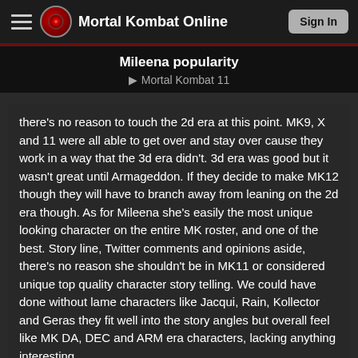Mortal Kombat Online | Sign In
Mileena popularity
Mortal Kombat 11
there's no reason to touch the 2d era at this point. MK9, X and 11 were all able to get over and stay over cause they work in a way that the 3d era didn't. 3d era was good but it wasn't great until Armageddon. If they decide to make MK12 though they will have to branch away from leaning on the 2d era though. As for Mileena she's easily the most unique looking character on the entire MK roster, and one of the best. Story line, Twitter comments and opinions aside, there's no reason she shouldn't be in MK11 or considered unique top quality character story telling. We could have done without lame characters like Jacqui, Rain, Kollector and Geras they fit well into the story angles but overall feel like MK DA, DEC and ARM era characters, lacking anything interesting.